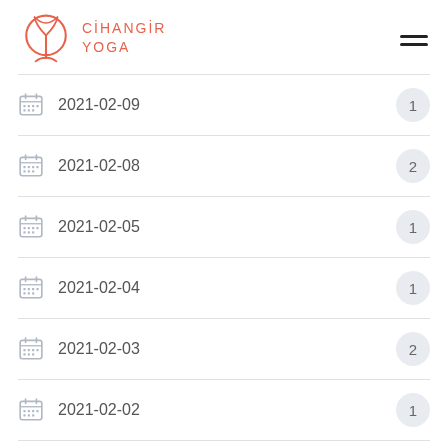[Figure (logo): Cihangir Yoga logo: circular plant/leaf icon in coral/salmon color with brand name CİHANGİR YOGA in uppercase coral letters]
2021-02-09  1
2021-02-08  2
2021-02-05  1
2021-02-04  1
2021-02-03  2
2021-02-02  1
2021-02-01  2
2021-01-29